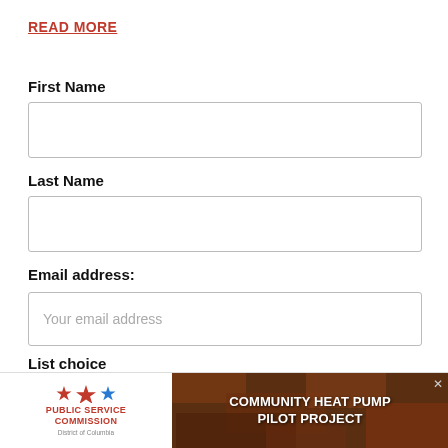READ MORE
First Name
Last Name
Email address:
Your email address
List choice
Our House D.C.
[Figure (screenshot): Advertisement banner: Public Service Commission of the District of Columbia logo on the left, and a Community Heat Pump Pilot Project ad on the right with aerial photo background.]